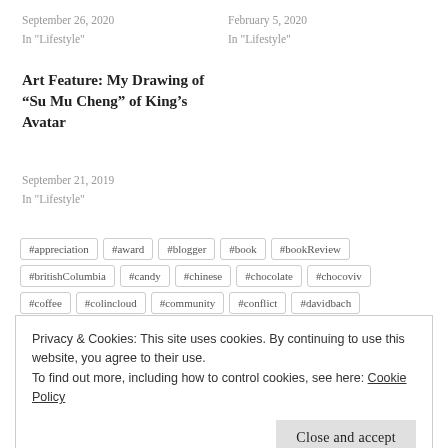September 26, 2020
In "Lifestyle"
February 5, 2020
In "Lifestyle"
Art Feature: My Drawing of “Su Mu Cheng” of King’s Avatar
September 21, 2019
In "Lifestyle"
#appreciation
#award
#blogger
#book
#bookReview
#britishColumbia
#candy
#chinese
#chocolate
#chocoviv
#coffee
#colincloud
#community
#conflict
#davidbach
Privacy & Cookies: This site uses cookies. By continuing to use this website, you agree to their use.
To find out more, including how to control cookies, see here: Cookie Policy
Close and accept